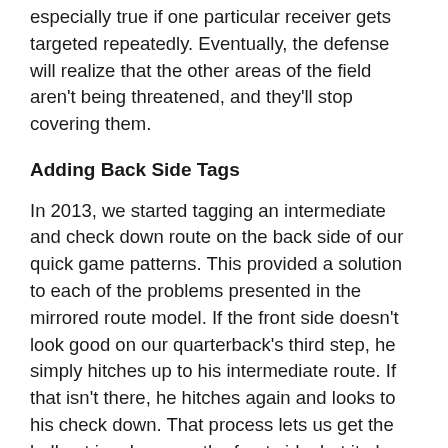especially true if one particular receiver gets targeted repeatedly. Eventually, the defense will realize that the other areas of the field aren't being threatened, and they'll stop covering them.
Adding Back Side Tags
In 2013, we started tagging an intermediate and check down route on the back side of our quick game patterns. This provided a solution to each of the problems presented in the mirrored route model. If the front side doesn't look good on our quarterback's third step, he simply hitches up to his intermediate route. If that isn't there, he hitches again and looks to his check down. That process lets us get the ball out in a hurry on the front side, but it also attacks the entire field and holds the defense accountable.